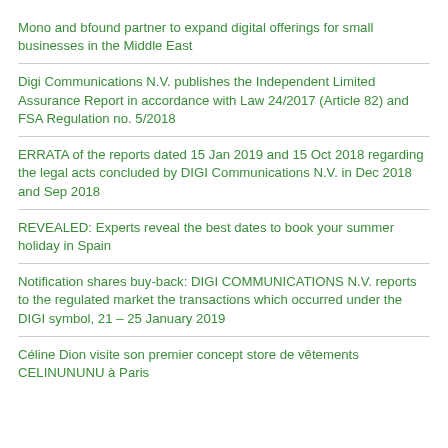Mono and bfound partner to expand digital offerings for small businesses in the Middle East
Digi Communications N.V. publishes the Independent Limited Assurance Report in accordance with Law 24/2017 (Article 82) and FSA Regulation no. 5/2018
ERRATA of the reports dated 15 Jan 2019 and 15 Oct 2018 regarding the legal acts concluded by DIGI Communications N.V. in Dec 2018 and Sep 2018
REVEALED: Experts reveal the best dates to book your summer holiday in Spain
Notification shares buy-back: DIGI COMMUNICATIONS N.V. reports to the regulated market the transactions which occurred under the DIGI symbol, 21 – 25 January 2019
Céline Dion visite son premier concept store de vêtements CELINUNUNU à Paris